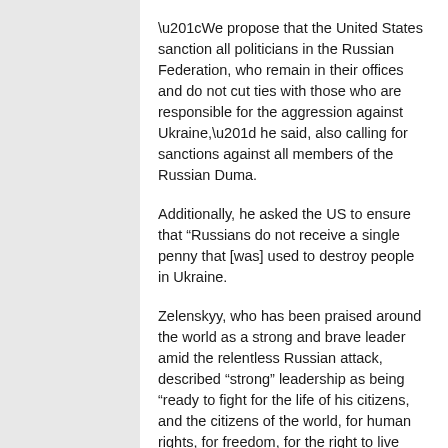“We propose that the United States sanction all politicians in the Russian Federation, who remain in their offices and do not cut ties with those who are responsible for the aggression against Ukraine,” he said, also calling for sanctions against all members of the Russian Duma.
Additionally, he asked the US to ensure that “Russians do not receive a single penny that [was] used to destroy people in Ukraine.
Zelenskyy, who has been praised around the world as a strong and brave leader amid the relentless Russian attack, described “strong” leadership as being “ready to fight for the life of his citizens, and the citizens of the world, for human rights, for freedom, for the right to live peaceably and to die when your time comes.”
At the end of his remarks, Zelenskyy spotlighted the thousands of civilian deaths in the conflict, making special note of the killing of dozens of children.